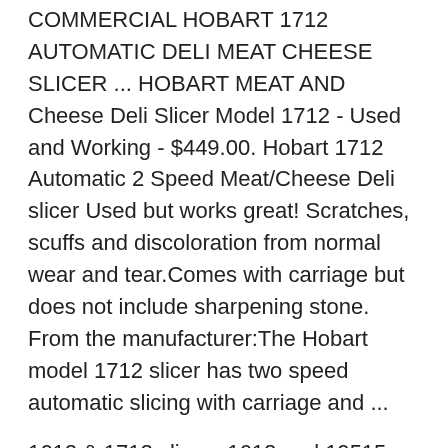COMMERCIAL HOBART 1712 AUTOMATIC DELI MEAT CHEESE SLICER ... HOBART MEAT AND Cheese Deli Slicer Model 1712 - Used and Working - $449.00. Hobart 1712 Automatic 2 Speed Meat/Cheese Deli slicer Used but works great! Scratches, scuffs and discoloration from normal wear and tear.Comes with carriage but does not include sharpening stone. From the manufacturer:The Hobart model 1712 slicer has two speed automatic slicing with carriage and ...
1612 & 1712 slicers 1612 - ml 19515, ml 38778, ml 38883, ml 103096 1712 ml 19525, ml 38779, ml 38884 1712r ml 19526, ml 38781, ml 38781, ml 38886, ml 38887 MODEL 2712 – Basic Automatic Slicer with the Works 2712C – Basic Automatic Slicer with Maximum Security Correctional